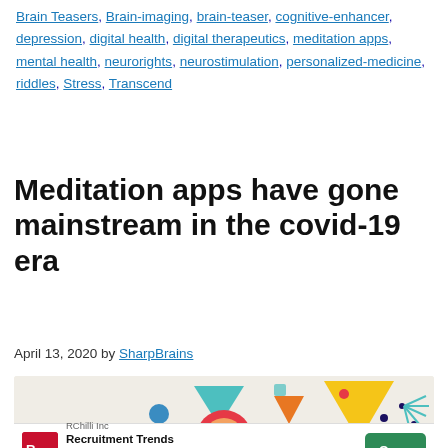Brain Teasers, Brain-imaging, brain-teaser, cognitive-enhancer, depression, digital health, digital therapeutics, meditation apps, mental health, neurorights, neurostimulation, personalized-medicine, riddles, Stress, Transcend
Meditation apps have gone mainstream in the covid-19 era
April 13, 2020 by SharpBrains
[Figure (illustration): Colorful geometric illustration with triangles, circles, and abstract shapes on a beige/cream background, partially overlaid by an advertisement banner.]